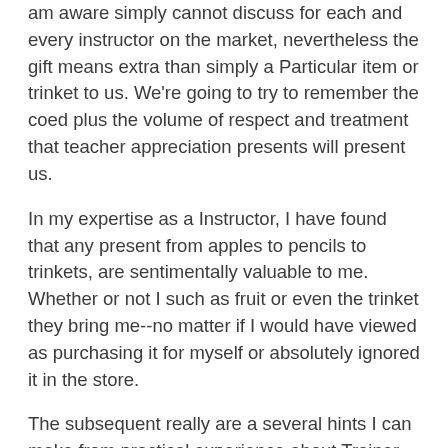am aware simply cannot discuss for each and every instructor on the market, nevertheless the gift means extra than simply a Particular item or trinket to us. We're going to try to remember the coed plus the volume of respect and treatment that teacher appreciation presents will present us.
In my expertise as a Instructor, I have found that any present from apples to pencils to trinkets, are sentimentally valuable to me. Whether or not I such as fruit or even the trinket they bring me--no matter if I would have viewed as purchasing it for myself or absolutely ignored it in the store.
The subsequent really are a several hints I can make from practical experience about Trainer appreciation gifts:
1) If the kid hopes to choose the gift him or herself, let them. And Even though you Assume it's Terrible--you actually would not have to suggest something else for the child to take into account instead reward for his or her teacher. The kid are going to be proud that he or she picked one thing out all by on their own, and will probably brag on the Instructor the present